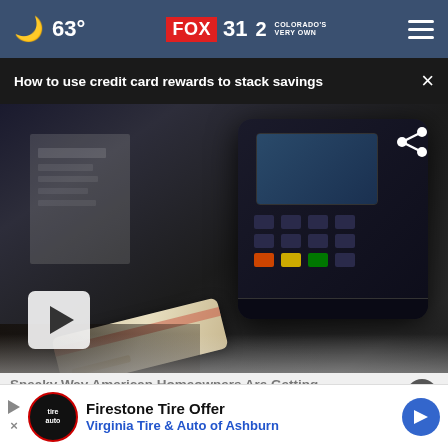63° FOX 31 2 COLORADO'S VERY OWN
How to use credit card rewards to stack savings ×
[Figure (photo): Screenshot of a FOX31 news website showing a video thumbnail of a person inserting a credit card into a payment terminal. A play button is visible in the lower left of the video. A share icon is visible top right.]
Sneaky Way American Homeowners Are Getting Their Old Roof Replaced
Smart
Firestone Tire Offer
Virginia Tire & Auto of Ashburn